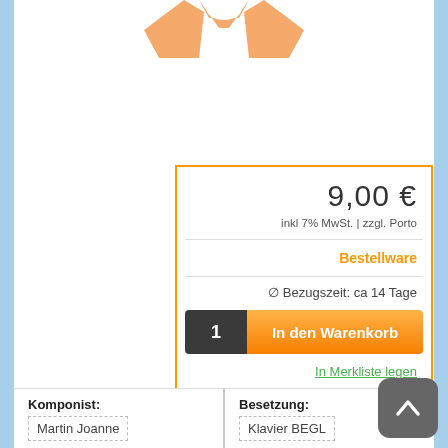[Figure (illustration): Partial orange product illustration visible at top of page]
9,00 €
inkl 7% MwSt. | zzgl. Porto
Bestellware
∅ Bezugszeit: ca 14 Tage
1   In den Warenkorb
In Merkliste legen
Komponist:
Martin Joanne
Besetzung:
Klavier BEGL